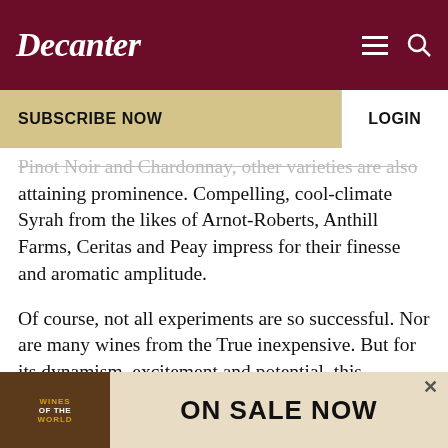Decanter
SUBSCRIBE NOW
LOGIN
Pinot Noir and Chardonnay, other varieties are also attaining prominence. Compelling, cool-climate Syrah from the likes of Arnot-Roberts, Anthill Farms, Ceritas and Peay impress for their finesse and aromatic amplitude.
Of course, not all experiments are so successful. Nor are many wines from the True inexpensive. But for its dynamism, excitement and potential, this strikingly beautiful region has few rivals in North
[Figure (advertisement): Decanter Wines of the World advertisement with text ON SALE NOW]